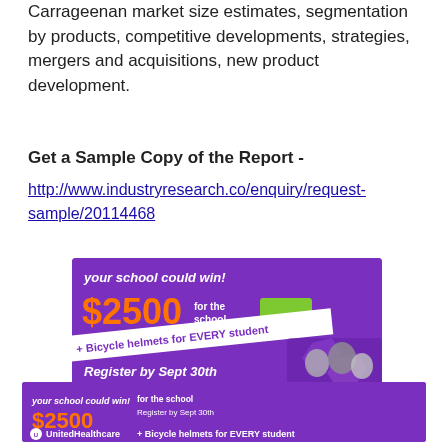Carrageenan market size estimates, segmentation by products, competitive developments, strategies, mergers and acquisitions, new product development.
Get a Sample Copy of the Report -
http://www.industryresearch.co/enquiry/request-sample/20114468
[Figure (illustration): UnitedHealthcare advertisement banner. Purple background with text: 'your school could win! $2500 for the school + Bicycle helmets for EVERY student. Register by Sept 30th'. UnitedHealthcare logo and children with bicycle helmets shown.]
[Figure (illustration): UnitedHealthcare bottom advertisement banner. Purple background with text: 'your school could win! $2500 for the school Register by Sept 30th. UnitedHealthcare + Bicycle helmets for EVERY student'.]